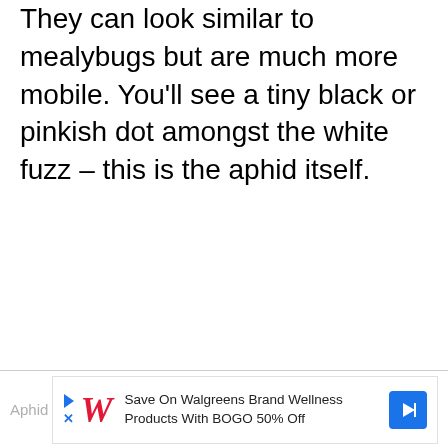They can look similar to mealybugs but are much more mobile. You'll see a tiny black or pinkish dot amongst the white fuzz – this is the aphid itself.
[Figure (other): Advertisement banner: Walgreens ad reading 'Save On Walgreens Brand Wellness Products With BOGO 50% Off' with Walgreens logo and navigation icon. Partially visible 'Aphid' text on the left.]